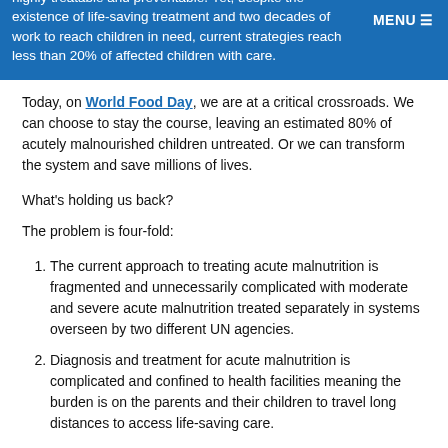highly treatable and preventable. Yet, despite the existence of life-saving treatment and two decades of work to reach children in need, current strategies reach less than 20% of affected children with care.
Today, on World Food Day, we are at a critical crossroads. We can choose to stay the course, leaving an estimated 80% of acutely malnourished children untreated. Or we can transform the system and save millions of lives.
What's holding us back?
The problem is four-fold:
The current approach to treating acute malnutrition is fragmented and unnecessarily complicated with moderate and severe acute malnutrition treated separately in systems overseen by two different UN agencies.
Diagnosis and treatment for acute malnutrition is complicated and confined to health facilities meaning the burden is on the parents and their children to travel long distances to access life-saving care.